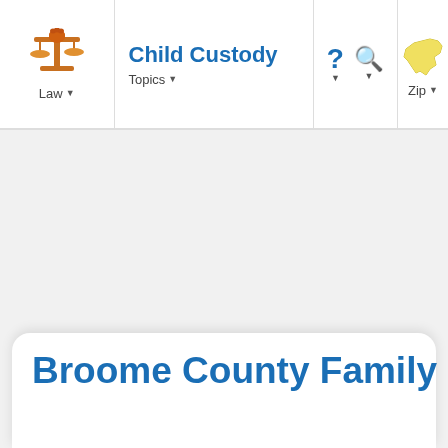Child Custody | Law | Topics | Zip
Broome County Family